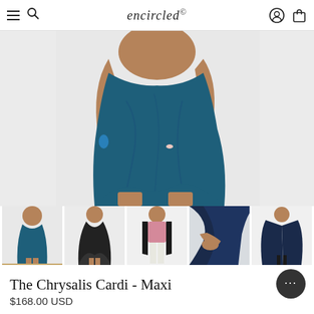encircled® — navigation bar with menu, search, account, and bag icons
[Figure (photo): Close-up product photo of a woman wearing the Chrysalis Cardi in teal/dark blue, shown as a knee-length dress with draped fabric. Light grey background.]
[Figure (photo): Thumbnail 1: Woman wearing teal Chrysalis Cardi as a dress, full body view.]
[Figure (photo): Thumbnail 2: Woman wearing black Chrysalis Cardi as a dress with skirt flared, full body view.]
[Figure (photo): Thumbnail 3: Woman wearing Chrysalis Cardi in black as a vest/cardigan over pink top and white pants.]
[Figure (photo): Thumbnail 4: Close-up of Chrysalis Cardi in navy blue, showing fabric drape and sleeve detail.]
[Figure (photo): Thumbnail 5: Woman wearing navy Chrysalis Cardi as a wrap/shawl, full body view.]
The Chrysalis Cardi - Maxi
$168.00 USD